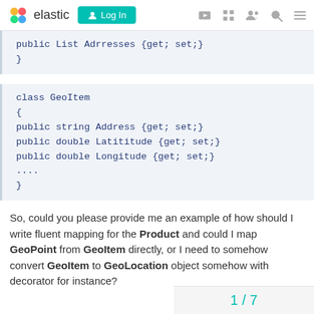elastic | Log In
public List Adrresses {get; set;}
}
class GeoItem
{
public string Address {get; set;}
public double Latititude {get; set;}
public double Longitude {get; set;}
....
}
So, could you please provide me an example of how should I write fluent mapping for the Product and could I map GeoPoint from GeoItem directly, or I need to somehow convert GeoItem to GeoLocation object somehow with decorator for instance?
1 / 7